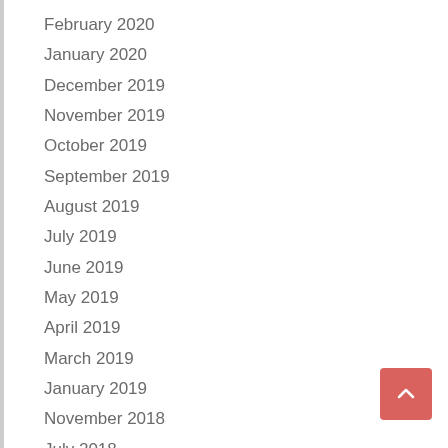February 2020
January 2020
December 2019
November 2019
October 2019
September 2019
August 2019
July 2019
June 2019
May 2019
April 2019
March 2019
January 2019
November 2018
July 2018
June 2018
May 2018
April 2018